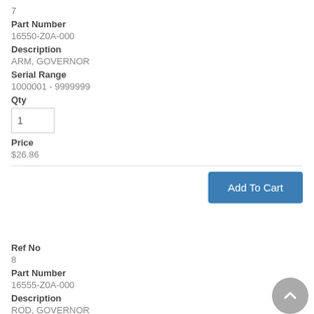7
Part Number
16550-Z0A-000
Description
ARM, GOVERNOR
Serial Range
1000001 - 9999999
Qty
1
Price
$26.86
Add To Cart
Ref No
8
Part Number
16555-Z0A-000
Description
ROD, GOVERNOR
Serial Range